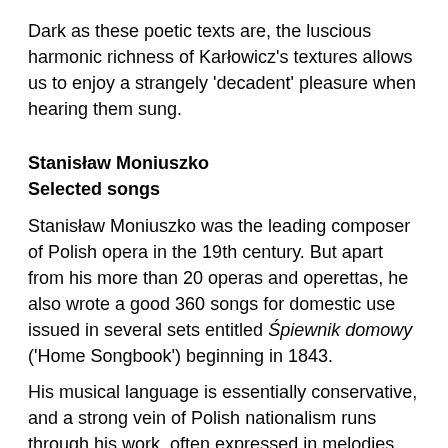Dark as these poetic texts are, the luscious harmonic richness of Karłowicz's textures allows us to enjoy a strangely 'decadent' pleasure when hearing them sung.
Stanisław Moniuszko
Selected songs
Stanisław Moniuszko was the leading composer of Polish opera in the 19th century. But apart from his more than 20 operas and operettas, he also wrote a good 360 songs for domestic use issued in several sets entitled Śpiewnik domowy ('Home Songbook') beginning in 1843.
His musical language is essentially conservative, and a strong vein of Polish nationalism runs through his work, often expressed in melodies that sound like Polish folk songs and rhythms borrowed from Polish dances such as the polonaise, mazurka and krakowiak.
Moniuszko's gift for soulful lyrical melody is on full display in